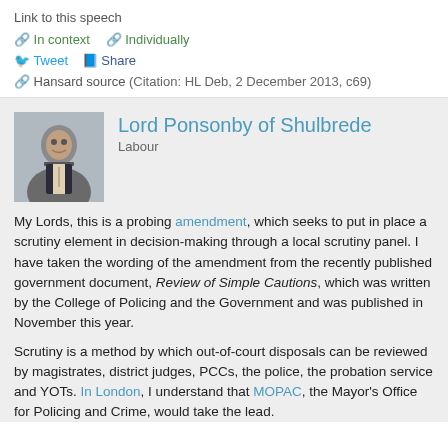Link to this speech
In context  Individually
Tweet  Share
Hansard source (Citation: HL Deb, 2 December 2013, c69)
Lord Ponsonby of Shulbrede
Labour
My Lords, this is a probing amendment, which seeks to put in place a scrutiny element in decision-making through a local scrutiny panel. I have taken the wording of the amendment from the recently published government document, Review of Simple Cautions, which was written by the College of Policing and the Government and was published in November this year.
Scrutiny is a method by which out-of-court disposals can be reviewed by magistrates, district judges, PCCs, the police, the probation service and YOTs. In London, I understand that MOPAC, the Mayor's Office for Policing and Crime, would take the lead.
I understand that the necessary legislation is in place for scrutiny panels to be established and that a number of PCCs have already introduced